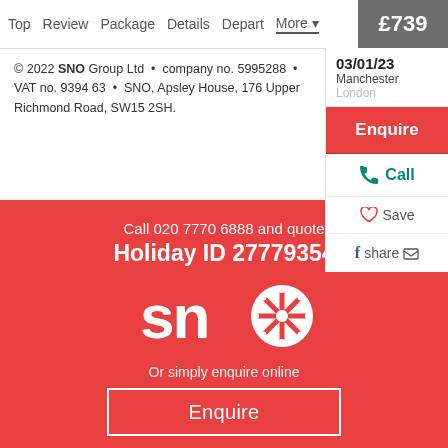Top  Review  Package  Details  Depart  More ▾  £739
© 2022 SNO Group Ltd • company no. 5995288 • VAT no. 9394 63 • SNO, Apsley House, 176 Upper Richmond Road, SW15 2SH.
03/01/23
Manchester
London
Enquire
Call
Save
share
Call 020 7770 6888 and quote
Holiday ID 27779354
[Figure (logo): SNO logo in white on red background with snowflake replacing the letter O]
Or simply enquire online
Enquire